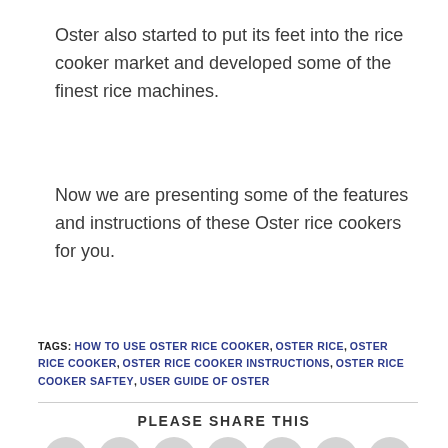Oster also started to put its feet into the rice cooker market and developed some of the finest rice machines.
Now we are presenting some of the features and instructions of these Oster rice cookers for you.
TAGS: HOW TO USE OSTER RICE COOKER, OSTER RICE, OSTER RICE COOKER, OSTER RICE COOKER INSTRUCTIONS, OSTER RICE COOKER SAFTEY, USER GUIDE OF OSTER
PLEASE SHARE THIS